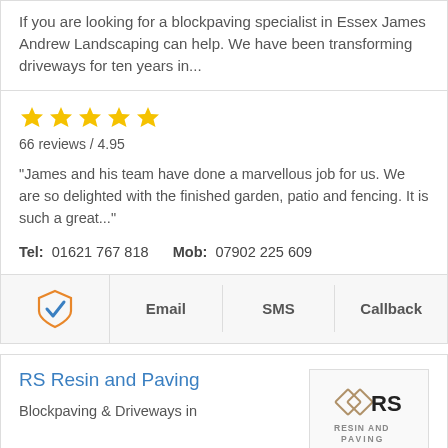If you are looking for a blockpaving specialist in Essex James Andrew Landscaping can help. We have been transforming driveways for ten years in...
[Figure (other): Five yellow star rating icons]
66 reviews / 4.95
"James and his team have done a marvellous job for us. We are so delighted with the finished garden, patio and fencing. It is such a great..."
Tel: 01621 767 818   Mob: 07902 225 609
[Figure (other): Shield with checkmark icon (blue and orange)]
Email
SMS
Callback
RS Resin and Paving
Blockpaving & Driveways in
[Figure (logo): RS Resin and Paving logo with diamond shapes and text RESIN AND PAVING]